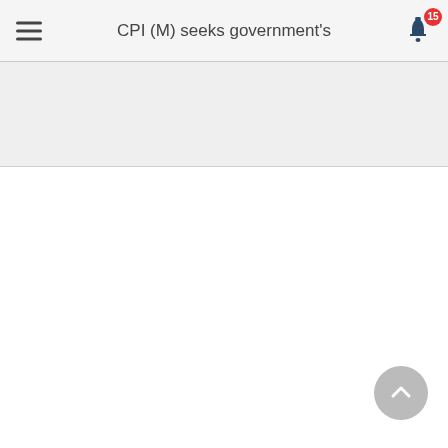CPI (M) seeks government's
[Figure (screenshot): Mobile app navigation bar with hamburger menu on left, page title 'CPI (M) seeks government's' in center, and bell notification icon with badge showing 15 on the right. Below is a gray banner area and white content area. A scroll-to-top circular button is in the bottom right.]